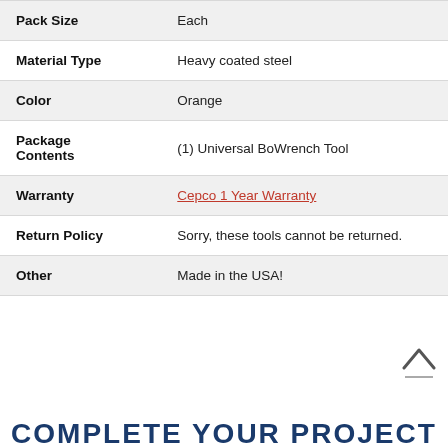| Attribute | Value |
| --- | --- |
| Pack Size | Each |
| Material Type | Heavy coated steel |
| Color | Orange |
| Package Contents | (1) Universal BoWrench Tool |
| Warranty | Cepco 1 Year Warranty |
| Return Policy | Sorry, these tools cannot be returned. |
| Other | Made in the USA! |
COMPLETE YOUR PROJECT